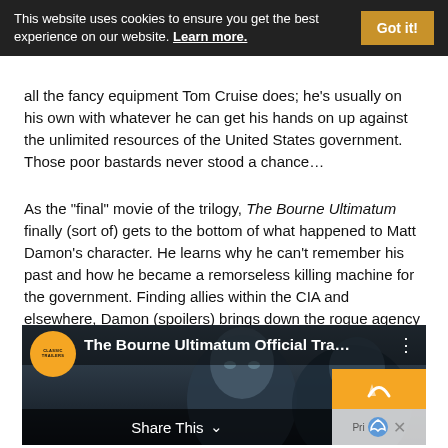This website uses cookies to ensure you get the best experience on our website. Learn more. Got it!
all the fancy equipment Tom Cruise does; he's usually on his own with whatever he can get his hands on up against the unlimited resources of the United States government. Those poor bastards never stood a chance...
As the "final" movie of the trilogy, The Bourne Ultimatum finally (sort of) gets to the bottom of what happened to Matt Damon's character. He learns why he can't remember his past and how he became a remorseless killing machine for the government. Finding allies within the CIA and elsewhere, Damon (spoilers) brings down the rogue agency that created him in the first place with nonstop action and fantastic fight scenes.
[Figure (screenshot): Video thumbnail for The Bourne Ultimatum Official Trailer with channel logo for Classic Trailers and Share This button at bottom]